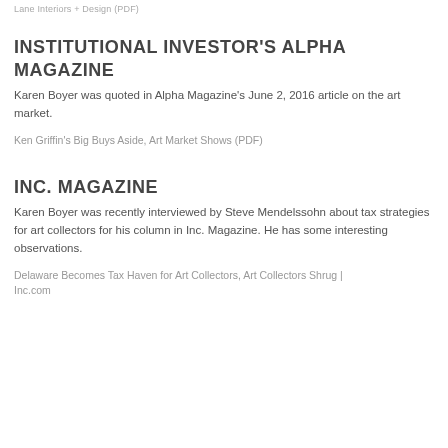Lane Interiors + Design (PDF)
INSTITUTIONAL INVESTOR'S ALPHA MAGAZINE
Karen Boyer was quoted in Alpha Magazine's June 2, 2016 article on the art market.
Ken Griffin's Big Buys Aside, Art Market Shows (PDF)
INC. MAGAZINE
Karen Boyer was recently interviewed by Steve Mendelssohn about tax strategies for art collectors for his column in Inc. Magazine. He has some interesting observations.
Delaware Becomes Tax Haven for Art Collectors, Art Collectors Shrug | Inc.com